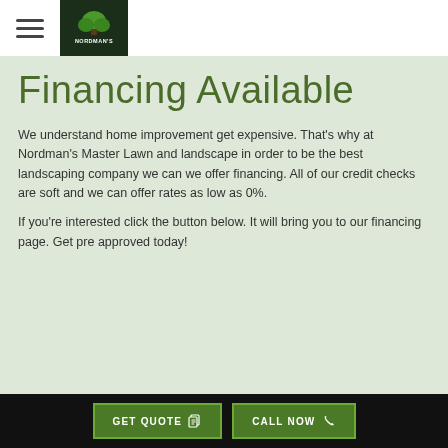Nordman's [logo] + hamburger menu
Financing Available
We understand home improvement get expensive. That's why at Nordman's Master Lawn and landscape in order to be the best landscaping company we can we offer financing. All of our credit checks are soft and we can offer rates as low as 0%.
If you're interested click the button below. It will bring you to our financing page. Get pre approved today!
GET QUOTE  CALL NOW